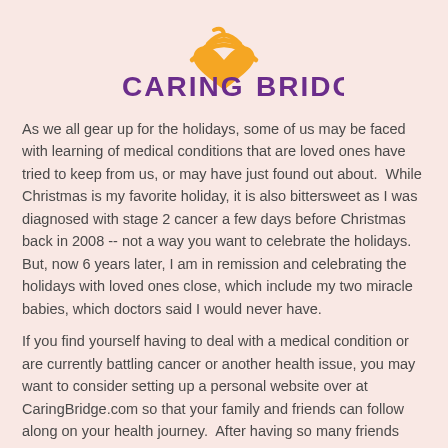[Figure (logo): CaringBridge logo with orange heart and wifi signal arcs above the text CARING BRIDGE. in purple]
As we all gear up for the holidays, some of us may be faced with learning of medical conditions that are loved ones have tried to keep from us, or may have just found out about. While Christmas is my favorite holiday, it is also bittersweet as I was diagnosed with stage 2 cancer a few days before Christmas back in 2008 -- not a way you want to celebrate the holidays. But, now 6 years later, I am in remission and celebrating the holidays with loved ones close, which include my two miracle babies, which doctors said I would never have.
If you find yourself having to deal with a medical condition or are currently battling cancer or another health issue, you may want to consider setting up a personal website over at CaringBridge.com so that your family and friends can follow along on your health journey. After having so many friends